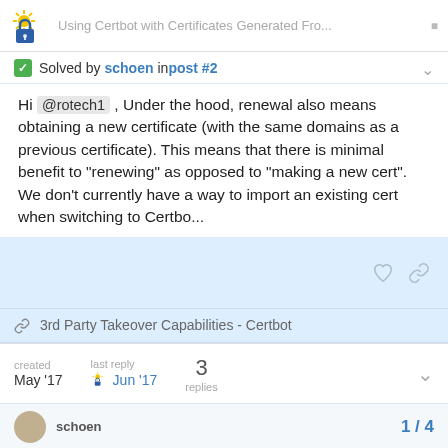Using Certbot with Certificates Generated Fro...
Solved by schoen in post #2
Hi @rotech1 , Under the hood, renewal also means obtaining a new certificate (with the same domains as a previous certificate). This means that there is minimal benefit to “renewing” as opposed to “making a new cert”. We don’t currently have a way to import an existing cert when switching to Certbo...
3rd Party Takeover Capabilities - Certbot
created May '17   last reply Jun '17   3 replies